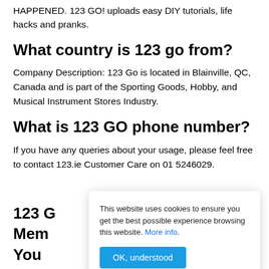HAPPENED. 123 GO! uploads easy DIY tutorials, life hacks and pranks.
What country is 123 go from?
Company Description: 123 Go is located in Blainville, QC, Canada and is part of the Sporting Goods, Hobby, and Musical Instrument Stores Industry.
What is 123 GO phone number?
If you have any queries about your usage, please feel free to contact 123.ie Customer Care on 01 5246029.
123 G...
This website uses cookies to ensure you get the best possible experience browsing this website. More info.
OK, understood
Mem...
You...
Bella...